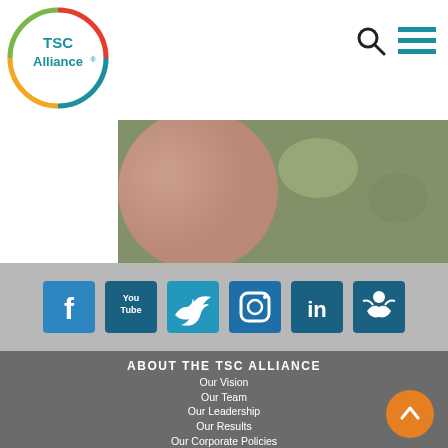[Figure (logo): TSC Alliance circular logo with colorful ring and text]
[Figure (photo): Close-up photo of a child's face outdoors with green background]
[Figure (infographic): Social media icons row: Facebook, YouTube, Twitter, Instagram, LinkedIn, TSC Alliance custom icon]
ABOUT THE TSC ALLIANCE
Our Vision
Our Team
Our Leadership
Our Results
Our Corporate Policies
FAQs
Careers
CONTACT US